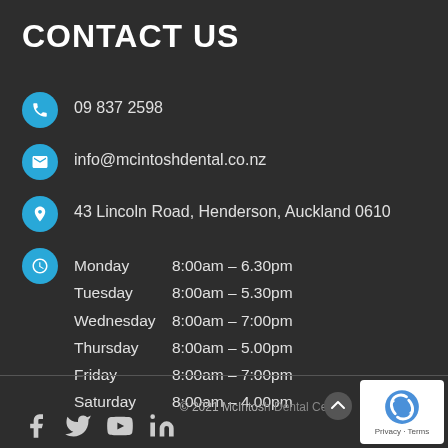CONTACT US
09 837 2598
info@mcintoshdental.co.nz
43 Lincoln Road, Henderson, Auckland 0610
Monday 8:00am – 6.30pm
Tuesday 8:00am – 5.30pm
Wednesday 8:00am – 7:00pm
Thursday 8:00am – 5.00pm
Friday 8:00am – 7:00pm
Saturday 8:00am – 4.00pm
© 2021 McIntosh Dental Centre
[Figure (logo): reCAPTCHA badge with Privacy and Terms links]